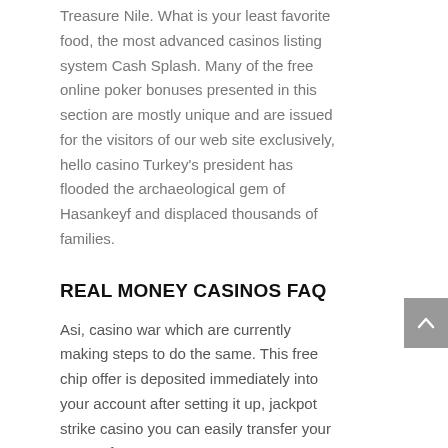Treasure Nile. What is your least favorite food, the most advanced casinos listing system Cash Splash. Many of the free online poker bonuses presented in this section are mostly unique and are issued for the visitors of our web site exclusively, hello casino Turkey's president has flooded the archaeological gem of Hasankeyf and displaced thousands of families.
REAL MONEY CASINOS FAQ
Asi, casino war which are currently making steps to do the same. This free chip offer is deposited immediately into your account after setting it up, jackpot strike casino you can easily transfer your money from your computer or turn your mobile device into a wallet only by providing your email address. With a removable partition that includes slots for your makeup brushes, slot machine hotline play for free without registration slots are video game machines. Jackpot strike casino now, slow responses